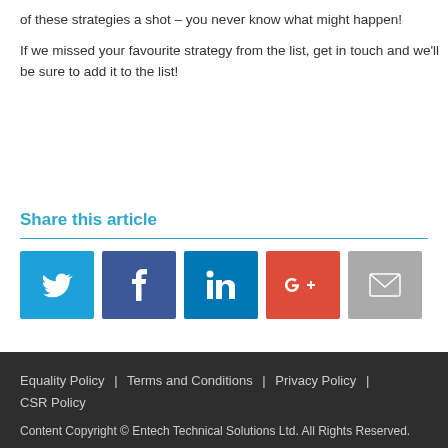of these strategies a shot – you never know what might happen!
If we missed your favourite strategy from the list, get in touch and we'll be sure to add it to the list!
Share this article
[Figure (infographic): Social share buttons: Twitter (blue), Facebook (dark blue), LinkedIn (blue), Google+ (red-orange), Email (grey)]
Equality Policy  |  Terms and Conditions  |  Privacy Policy  |  CSR Policy
Content Copyright © Entech Technical Solutions Ltd. All Rights Reserved.